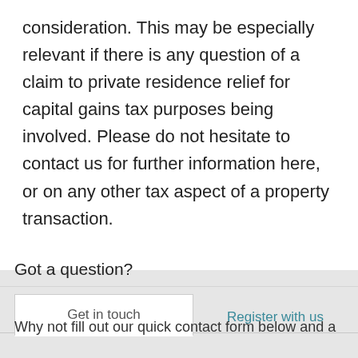consideration. This may be especially relevant if there is any question of a claim to private residence relief for capital gains tax purposes being involved. Please do not hesitate to contact us for further information here, or on any other tax aspect of a property transaction.
Got a question?
Why not fill out our quick contact form below and a